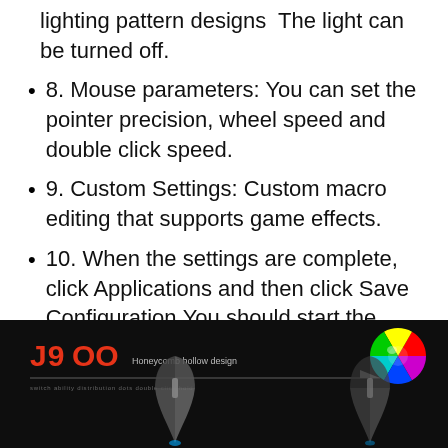lighting pattern designs  The light can be turned off.
8. Mouse parameters: You can set the pointer precision, wheel speed and double click speed.
9. Custom Settings: Custom macro editing that supports game effects.
10. When the settings are complete, click Applications and then click Save Configuration.You should start the driver again the next time you use it so that you can use all customizations Features.
[Figure (photo): J900 gaming mouse product image on black background with J900 logo in red/orange, tagline 'Honeycomb hollow design', a color wheel in top right corner, and mouse silhouette at the bottom]